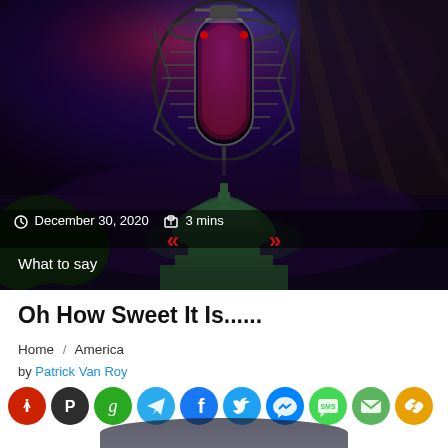[Figure (photo): Dark studio condenser microphone with red/blue lighting against a dark purple background, with US Capitol building visible below with red chevron arrows, and dark night sky with trees]
December 30, 2020   3 mins
What to say
Oh How Sweet It Is......
Home / America
by Patrick Van Roy
[Figure (infographic): Social sharing icons row: MeWe (red), Parler (dark), Gab (green), Telegram (blue), Facebook (dark blue), Twitter (light blue), Messenger (blue), SMS (green), Email (green), Link (yellow)]